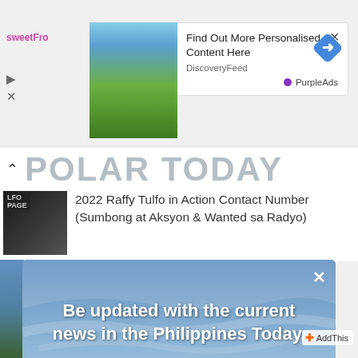[Figure (screenshot): Advertisement banner showing mountain landscape image with 'sweetFro' logo, navigation icons, and 'Find Out More Personalised Content Here' text from DiscoveryFeed, with PurpleAds branding and blue diamond icon]
Find Out More Personalised Content Here
DiscoveryFeed
PurpleAds
POLAR TODAY
2022 Raffy Tulfo in Action Contact Number (Sumbong at Aksyon & Wanted sa Radyo)
[Figure (screenshot): Website notification push prompt overlay showing beach/sky photo with text 'Be updated with the current news in the Philippines Today.' and two buttons: 'Yes please!' and 'Maybe next time']
Be updated with the current news in the Philippines Today.
Yes please!
Maybe next time
AddThis